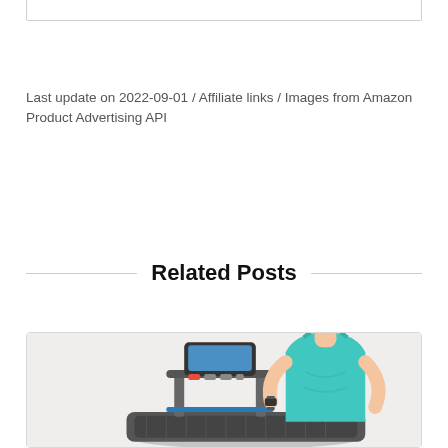Last update on 2022-09-01 / Affiliate links / Images from Amazon Product Advertising API
Related Posts
[Figure (photo): A woman in a teal/turquoise tank top running on a treadmill, shown from the waist up. The treadmill has a console/display panel visible. The image is partially cropped at the bottom.]